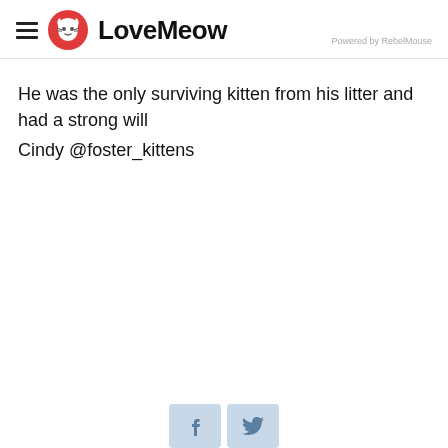LoveMeow — Powered by RebelMouse
He was the only surviving kitten from his litter and had a strong will
Cindy @foster_kittens